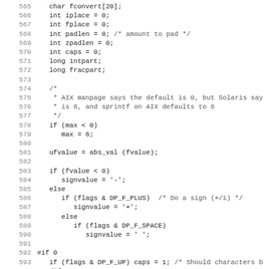[Figure (screenshot): Source code listing in C, lines 565-597, showing variable declarations, a comment about AIX/Solaris defaults, conditional logic for sign value, and preprocessor directives.]